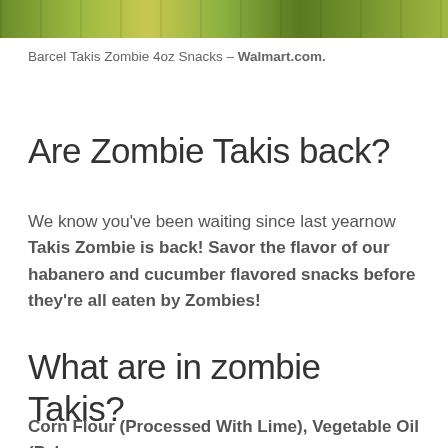[Figure (photo): A strip of product images showing Barcel Takis Zombie snack packages in green and yellow colors]
Barcel Takis Zombie 4oz Snacks – Walmart.com.
Are Zombie Takis back?
We know you've been waiting since last yearnow Takis Zombie is back! Savor the flavor of our habanero and cucumber flavored snacks before they're all eaten by Zombies!
What are in zombie Takis?
Corn Flour (Processed With Lime), Vegetable Oil (Palm